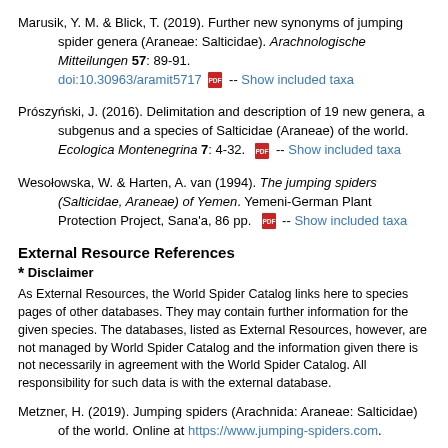Marusik, Y. M. & Blick, T. (2019). Further new synonyms of jumping spider genera (Araneae: Salticidae). Arachnologische Mitteilungen 57: 89-91. doi:10.30963/aramit5717 -- Show included taxa
Prószyński, J. (2016). Delimitation and description of 19 new genera, a subgenus and a species of Salticidae (Araneae) of the world. Ecologica Montenegrina 7: 4-32. -- Show included taxa
Wesołowska, W. & Harten, A. van (1994). The jumping spiders (Salticidae, Araneae) of Yemen. Yemeni-German Plant Protection Project, Sana'a, 86 pp. -- Show included taxa
External Resource References
* Disclaimer
As External Resources, the World Spider Catalog links here to species pages of other databases. They may contain further information for the given species. The databases, listed as External Resources, however, are not managed by World Spider Catalog and the information given there is not necessarily in agreement with the World Spider Catalog. All responsibility for such data is with the external database.
Metzner, H. (2019). Jumping spiders (Arachnida: Araneae: Salticidae) of the world. Online at https://www.jumping-spiders.com.